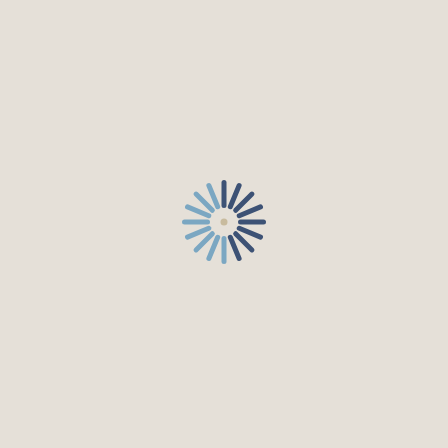[Figure (logo): A stylized sun/loading spinner logo with radiating spokes in dark navy blue (upper half) and light steel blue (lower half), with a small cream-colored circle at the center, on a warm beige background.]